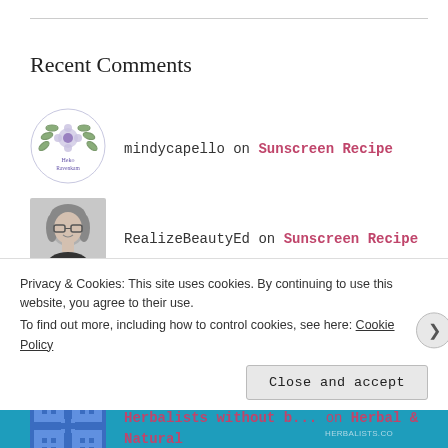Recent Comments
mindycapello on Sunscreen Recipe
RealizeBeautyEd on Sunscreen Recipe
mindycapello on Herbal & Natural Medicine...
Herbalists without b... on Herbal & Natural
Privacy & Cookies: This site uses cookies. By continuing to use this website, you agree to their use.
To find out more, including how to control cookies, see here: Cookie Policy
Close and accept